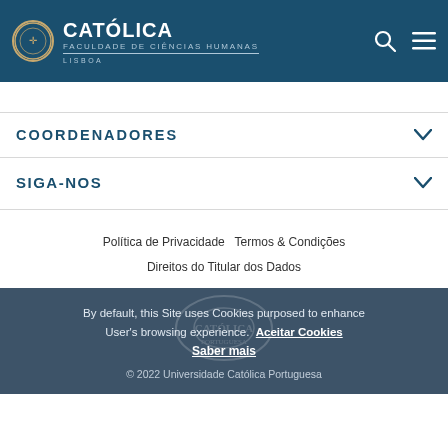CATÓLICA FACULDADE DE CIÊNCIAS HUMANAS LISBOA
COORDENADORES
SIGA-NOS
Política de Privacidade   Termos & Condições   Direitos do Titular dos Dados
By default, this Site uses Cookies purposed to enhance User's browsing experience. Aceitar Cookies Saber mais
© 2022 Universidade Católica Portuguesa